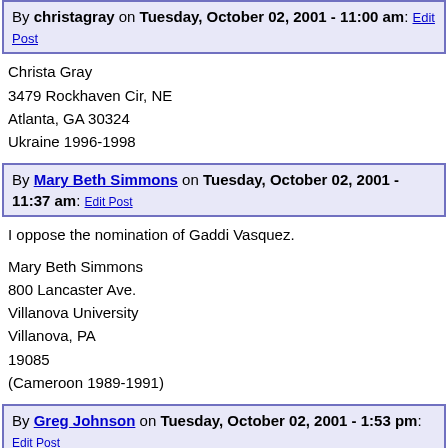By christagray on Tuesday, October 02, 2001 - 11:00 am: Edit Post
Christa Gray
3479 Rockhaven Cir, NE
Atlanta, GA 30324
Ukraine 1996-1998
By Mary Beth Simmons on Tuesday, October 02, 2001 - 11:37 am: Edit Post
I oppose the nomination of Gaddi Vasquez.
Mary Beth Simmons
800 Lancaster Ave.
Villanova University
Villanova, PA
19085
(Cameroon 1989-1991)
By Greg Johnson on Tuesday, October 02, 2001 - 1:53 pm: Edit Post
I oppose the nomination of Gaddi Vasquez
Greg C. Johnson
5017 Sims Road
Knoxville TN
37920
(865) 577-2116
(Lesotho 1986-89)